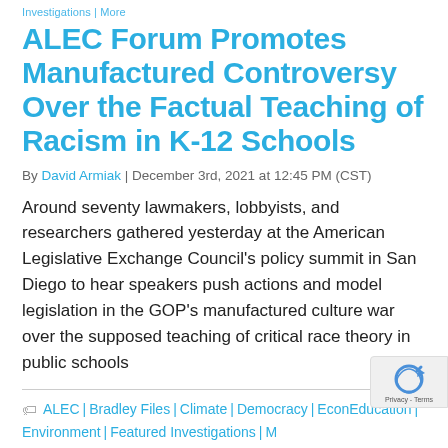Investigations | More
ALEC Forum Promotes Manufactured Controversy Over the Factual Teaching of Racism in K-12 Schools
By David Armiak | December 3rd, 2021 at 12:45 PM (CST)
Around seventy lawmakers, lobbyists, and researchers gathered yesterday at the American Legislative Exchange Council's policy summit in San Diego to hear speakers push actions and model legislation in the GOP's manufactured culture war over the supposed teaching of critical race theory in public schools
🏷 ALEC | Bradley Files | Climate | Democracy | Econ… Education | Environment | Featured Investigations | M…